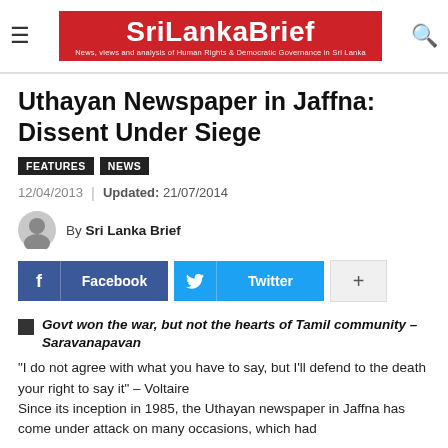SriLankaBrief – News, views and analysis of Human Rights & Democratic Governance in Sri Lanka
Uthayan Newspaper in Jaffna: Dissent Under Siege
FEATURES  NEWS
12/04/2013  |  Updated: 21/07/2014
By Sri Lanka Brief
Facebook  Twitter  +
▪ Govt won the war, but not the hearts of Tamil community – Saravanapavan
"I do not agree with what you have to say, but I'll defend to the death your right to say it" – Voltaire
Since its inception in 1985, the Uthayan newspaper in Jaffna has come under attack on many occasions, which had